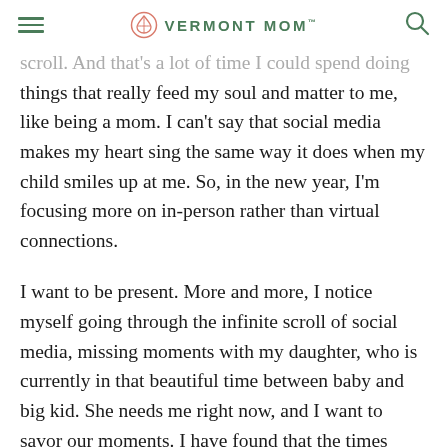VERMONT MOM
scroll. And that's a lot of time I could spend doing things that really feed my soul and matter to me, like being a mom. I can't say that social media makes my heart sing the same way it does when my child smiles up at me. So, in the new year, I'm focusing more on in-person rather than virtual connections.
I want to be present. More and more, I notice myself going through the infinite scroll of social media, missing moments with my daughter, who is currently in that beautiful time between baby and big kid. She needs me right now, and I want to savor our moments. I have found that the times when I put down my phone and am truly present with her are more joyful. We both smile more, interact more, and have more generally positive interactions when I am